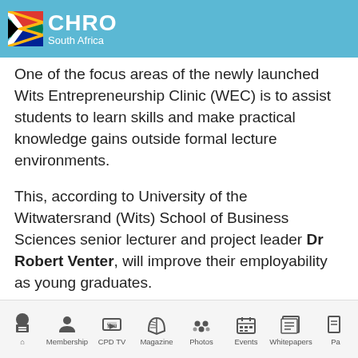CHRO South Africa
One of the focus areas of the newly launched Wits Entrepreneurship Clinic (WEC) is to assist students to learn skills and make practical knowledge gains outside formal lecture environments.
This, according to University of the Witwatersrand (Wits) School of Business Sciences senior lecturer and project leader Dr Robert Venter, will improve their employability as young graduates.
The youth unemployment rate currently stands at 60 percent, with about 40 percent of graduates aged 15
Home | Membership | CPD TV | Magazine | Photos | Events | Whitepapers | Pa...